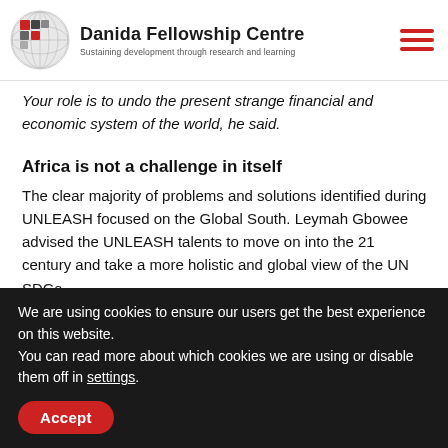Danida Fellowship Centre — Sustaining development through research and learning
Your role is to undo the present strange financial and economic system of the world, he said.
Africa is not a challenge in itself
The clear majority of problems and solutions identified during UNLEASH focused on the Global South. Leymah Gbowee advised the UNLEASH talents to move on into the 21 century and take a more holistic and global view of the UN SDGs.
Africa is not a problem in itself. Neither is Asia, nor is Latin
We are using cookies to ensure our users get the best experience on this website.
You can read more about which cookies we are using or disable them off in settings.